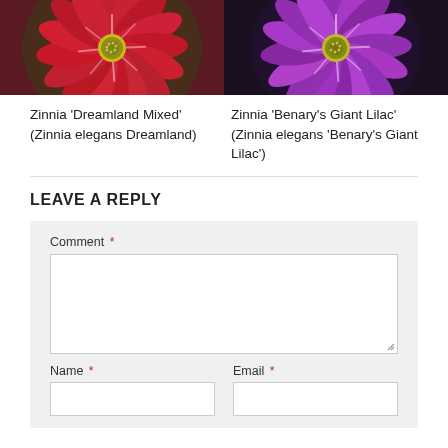[Figure (photo): Two zinnia flower photos side by side. Left: red/crimson zinnia (Dreamland Mixed). Right: purple/lilac zinnia (Benary's Giant Lilac).]
Zinnia 'Dreamland Mixed' (Zinnia elegans Dreamland)
Zinnia 'Benary's Giant Lilac' (Zinnia elegans 'Benary's Giant Lilac')
LEAVE A REPLY
Comment *
Name *
Email *